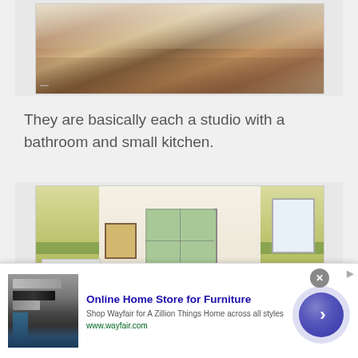[Figure (photo): Interior room photo showing a living/bedroom area with wooden floor, area rug, coffee table with bowl, and seating area]
They are basically each a studio with a bathroom and small kitchen.
[Figure (photo): Interior room photo showing a brightly painted studio with yellow and green walls, pink floor, white kitchen area, central door with window, and curtained windows on sides]
[Figure (other): Advertisement: Online Home Store for Furniture - Shop Wayfair for A Zillion Things Home across all styles - www.wayfair.com]